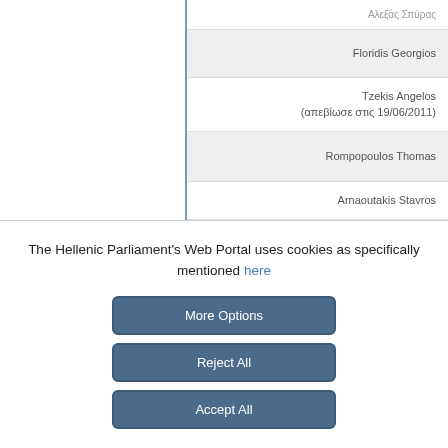| Floridis Georgios |
| Tzekis Angelos
(απεβίωσε στις 19/06/2011) |
| Rompopoulos Thomas |
| Arnaoutakis Stavros |
The Hellenic Parliament's Web Portal uses cookies as specifically mentioned here
More Options
Reject All
Accept All